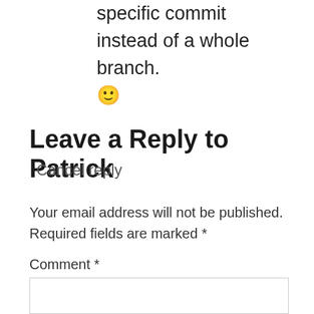specific commit instead of a whole branch. 🙂
Leave a Reply to Patrick
Cancel reply
Your email address will not be published. Required fields are marked *
Comment *